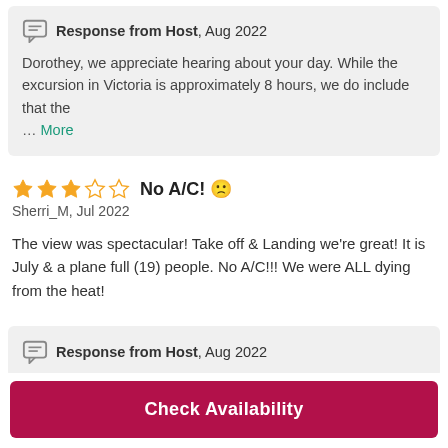Response from Host, Aug 2022
Dorothey, we appreciate hearing about your day. While the excursion in Victoria is approximately 8 hours, we do include that the … More
No A/C! 🙁 — 3 out of 5 stars
Sherri_M, Jul 2022
The view was spectacular! Take off & Landing we're great! It is July & a plane full (19) people. No A/C!!! We were ALL dying from the heat!
Response from Host, Aug 2022
Check Availability